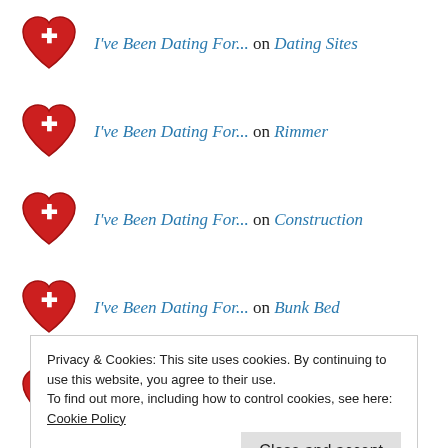I've Been Dating For... on Dating Sites
I've Been Dating For... on Rimmer
I've Been Dating For... on Construction
I've Been Dating For... on Bunk Bed
I've Been Dating For... on Cruise #2
Privacy & Cookies: This site uses cookies. By continuing to use this website, you agree to their use.
To find out more, including how to control cookies, see here: Cookie Policy
Close and accept